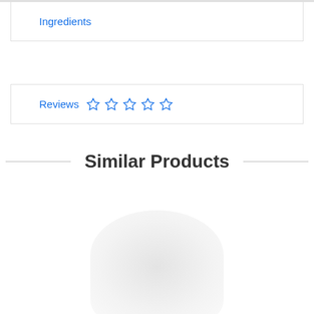Ingredients
Reviews ☆☆☆☆☆
Similar Products
[Figure (photo): Blurred placeholder product image shown below the Similar Products heading]